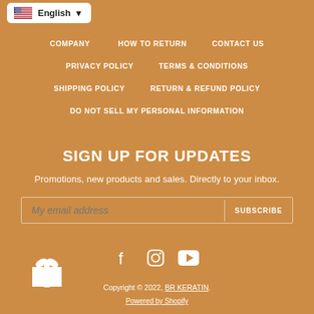[Figure (other): Language selector button with US flag and 'English' text with dropdown arrow]
COMPANY | HOW TO RETURN | CONTACT US
PRIVACY POLICY | TERMS & CONDITIONS
SHIPPING POLICY | RETURN & REFUND POLICY
DO NOT SELL MY PERSONAL INFORMATION
SIGN UP FOR UPDATES
Promotions, new products and sales. Directly to your inbox.
My email address | SUBSCRIBE
[Figure (other): Social media icons: Facebook, Instagram, YouTube]
[Figure (other): Gift box icon]
Copyright © 2022, BR KERATIN.
Powered by Shopify